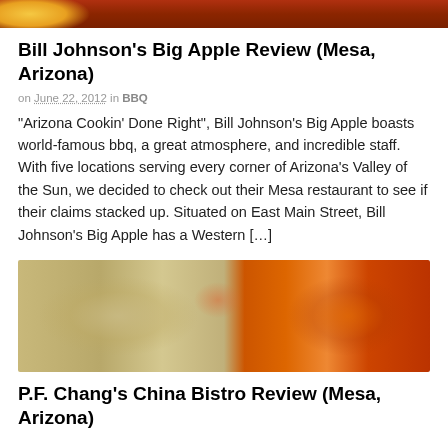[Figure (photo): Partial food photo at top of page showing BBQ/grilled food with yellow and reddish-brown tones]
Bill Johnson's Big Apple Review (Mesa, Arizona)
on June 22, 2012 in BBQ
“Arizona Cookin’ Done Right”, Bill Johnson’s Big Apple boasts world-famous bbq, a great atmosphere, and incredible staff. With five locations serving every corner of Arizona’s Valley of the Sun, we decided to check out their Mesa restaurant to see if their claims stacked up. Situated on East Main Street, Bill Johnson’s Big Apple has a Western […]
[Figure (photo): Food photo showing rice on the left and sweet and sour chicken or pork with bell peppers and pineapple in sauce on the right]
P.F. Chang’s China Bistro Review (Mesa, Arizona)